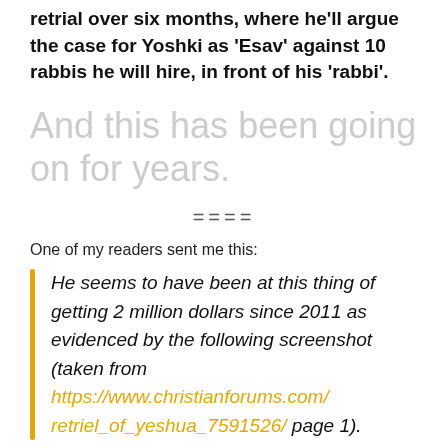retrial over six months, where he'll argue the case for Yoshki as 'Esav' against 10 rabbis he will hire, in front of his 'rabbi'.
And this has been going on for years.
====
One of my readers sent me this:
He seems to have been at this thing of getting 2 million dollars since 2011 as evidenced by the following screenshot (taken from https://www.christianforums.com/retriel_of_yeshua_7591526/ page 1).